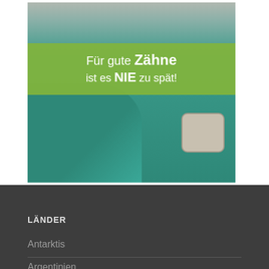[Figure (photo): A dental professional wearing surgical mask, cap, and teal scrubs, pointing left hand toward camera and holding a clock in right hand. A green banner overlays the image with the text 'Für gute Zähne ist es NIE zu spät!']
LÄNDER
Antarktis
Argentinien